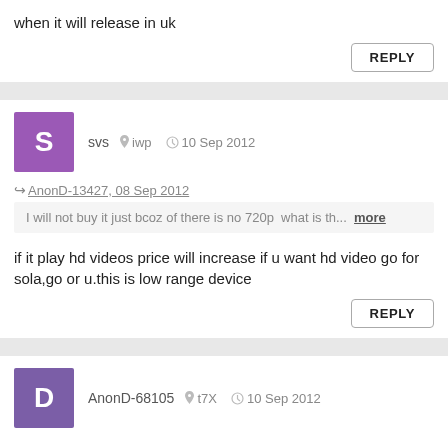when it will release in uk
REPLY
svs  iwp  10 Sep 2012
AnonD-13427, 08 Sep 2012
I will not buy it just bcoz of there is no 720p  what is th...  more
if it play hd videos price will increase if u want hd video go for sola,go or u.this is low range device
REPLY
AnonD-68105  t7X  10 Sep 2012